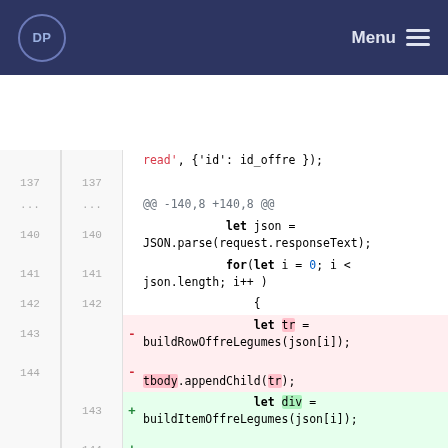DP | Menu
[Figure (screenshot): Code diff view showing lines 137-147 with removed and added lines. Lines 143-144 (removed): 'let tr = buildRowOffreLegumes(json[i]);' and 'tbody.appendChild(tr);'. Lines 143-144 (added): 'let div = buildItemOffreLegumes(json[i]);' and 'sortable.appendChild(div);']